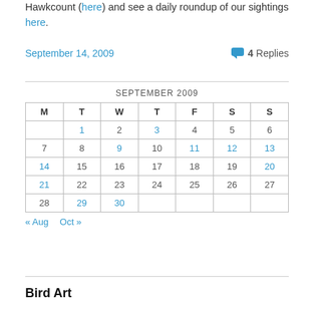Hawkcount (here) and see a daily roundup of our sightings here.
September 14, 2009   💬 4 Replies
| M | T | W | T | F | S | S |
| --- | --- | --- | --- | --- | --- | --- |
|  | 1 | 2 | 3 | 4 | 5 | 6 |
| 7 | 8 | 9 | 10 | 11 | 12 | 13 |
| 14 | 15 | 16 | 17 | 18 | 19 | 20 |
| 21 | 22 | 23 | 24 | 25 | 26 | 27 |
| 28 | 29 | 30 |  |  |  |  |
« Aug   Oct »
Bird Art